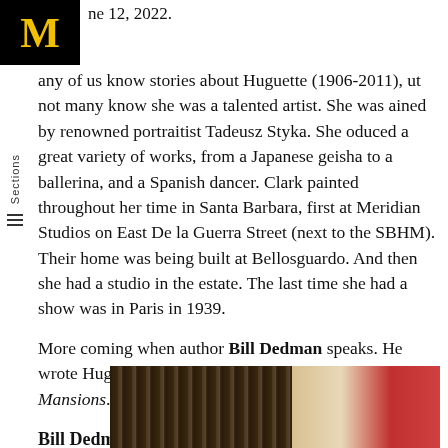M
une 12, 2022.
any of us know stories about Huguette (1906-2011), ut not many know she was a talented artist. She was ained by renowned portraitist Tadeusz Styka. She oduced a great variety of works, from a Japanese geisha to a ballerina, and a Spanish dancer. Clark painted throughout her time in Santa Barbara, first at Meridian Studios on East De la Guerra Street (next to the SBHM). Their home was being built at Bellosguardo. And then she had a studio in the estate. The last time she had a show was in Paris in 1939.
More coming when author Bill Dedman speaks. He wrote Huguette's best-selling biography, Empty Mansions.
Bill Dedman Talk
[Figure (photo): Photograph showing books on a shelf on the left side and what appears to be a red/orange fabric or object on the right side.]